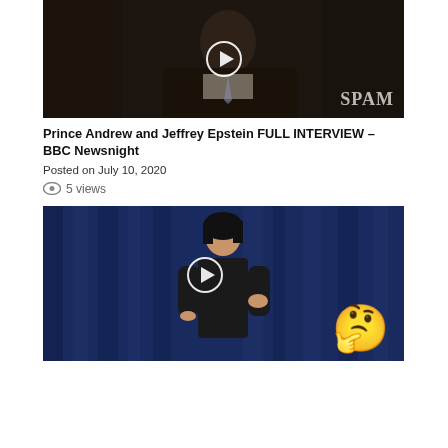[Figure (screenshot): Video thumbnail showing a man in dark suit and tie, with a play button overlay and SPAM watermark]
Prince Andrew and Jeffrey Epstein FULL INTERVIEW – BBC Newsnight
Posted on July 10, 2020
👁 5 views
[Figure (screenshot): Video thumbnail showing a woman in dark outfit standing on stage with blue curtain background, play button overlay, and thinking emoji overlay]